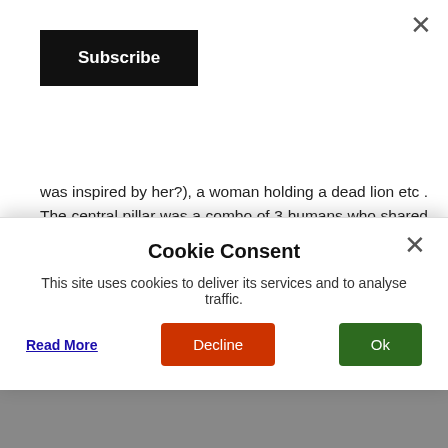×
Subscribe
was inspired by her?), a woman holding a dead lion etc . The central pillar was a combo of 3 humans who shared forearms in the sculpture depicting the Arts of Trivium, Quadrivium and Theological Virtues. The present structure of the church was built after the 1595 fire. Didn't I already tell you major arsons had happened all across UK & Europe time and again in history. The oldest surviving painting here is of 13th C. It is of Virgin with Child on a golden background and quite unusually infant Jesus is shown here holding a
Cookie Consent
This site uses cookies to deliver its services and to analyse traffic.
Read More
Decline
Ok